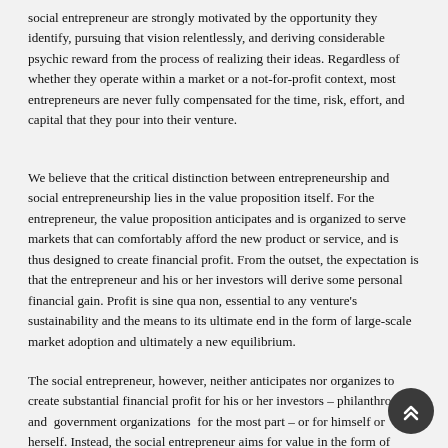social entrepreneur are strongly motivated by the opportunity they identify, pursuing that vision relentlessly, and deriving considerable psychic reward from the process of realizing their ideas. Regardless of whether they operate within a market or a not-for-profit context, most entrepreneurs are never fully compensated for the time, risk, effort, and capital that they pour into their venture.
We believe that the critical distinction between entrepreneurship and social entrepreneurship lies in the value proposition itself. For the entrepreneur, the value proposition anticipates and is organized to serve markets that can comfortably afford the new product or service, and is thus designed to create financial profit. From the outset, the expectation is that the entrepreneur and his or her investors will derive some personal financial gain. Profit is sine qua non, essential to any venture's  sustainability and the means to its ultimate end in the form of large-scale market adoption and ultimately a new equilibrium.
The social entrepreneur, however, neither anticipates nor organizes to create substantial financial profit for his or her investors – philanthropic and  government organizations  for the most part – or for himself or herself. Instead, the social entrepreneur aims for value in the form of large-scale, transformational benefit that accrues either to a significant